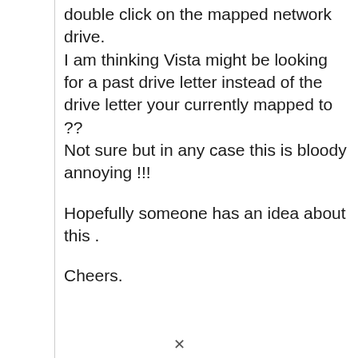double click on the mapped network drive.
I am thinking Vista might be looking for a past drive letter instead of the drive letter your currently mapped to ??
Not sure but in any case this is bloody annoying !!!

Hopefully someone has an idea about this .

Cheers.